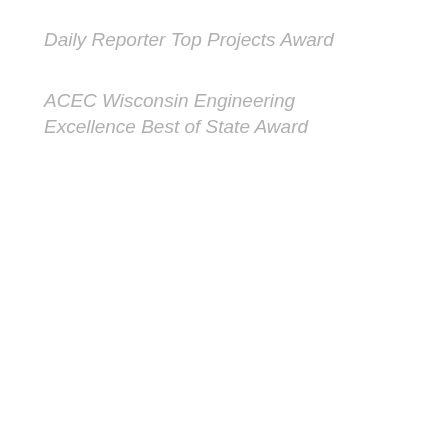Daily Reporter Top Projects Award
ACEC Wisconsin Engineering Excellence Best of State Award